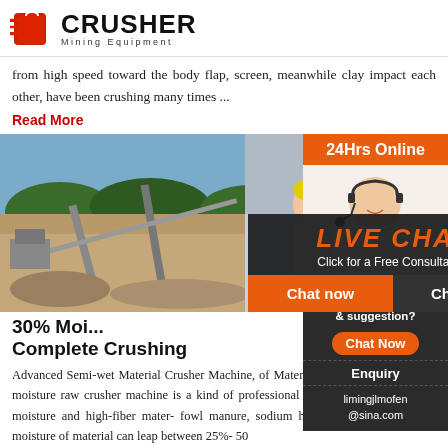[Figure (logo): Crusher Mining Equipment logo with red shopping bag icon and bold CRUSHER text]
from high speed toward the body flap, screen, meanwhile clay impact each other, have been crushing many times ...
Read More
[Figure (photo): Mining site with conveyor belts and crushed stone aggregate]
[Figure (photo): Live chat popup overlay with workers in yellow hard hats, LIVE CHAT heading and Chat now / Chat later buttons]
30% Moi... Complete Crushing
Advanced Semi-wet Material Crusher Machine, of Material Crusher Machine High moisture raw crusher machine is a kind of professional fertiliz for crushing high-moisture and high-fiber mater- fowl manure, sodium humate, sludge, straw, etc moisture of material can leap between 25%- 50
Read More
[Figure (infographic): Sidebar with 24Hrs Online, live chat lady with headset, Need questions & suggestion, Chat Now button, Enquiry, limingjlmofen@sina.com]